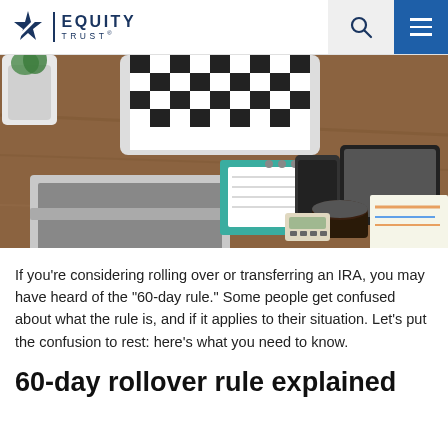Equity Trust
[Figure (photo): Overhead view of a person in a checkered shirt working at a wooden desk with a laptop, planner, smartphone, tablet, calculator, and coffee cup]
If you’re considering rolling over or transferring an IRA, you may have heard of the “60-day rule.” Some people get confused about what the rule is, and if it applies to their situation. Let’s put the confusion to rest: here’s what you need to know.
60-day rollover rule explained